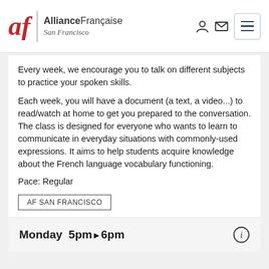Alliance Française San Francisco
Every week, we encourage you to talk on different subjects to practice your spoken skills.
Each week, you will have a document (a text, a video...) to read/watch at home to get you prepared to the conversation. The class is designed for everyone who wants to learn to communicate in everyday situations with commonly-used expressions. It aims to help students acquire knowledge about the French language vocabulary functioning.
Pace: Regular
AF SAN FRANCISCO
Monday  5pm▶6pm